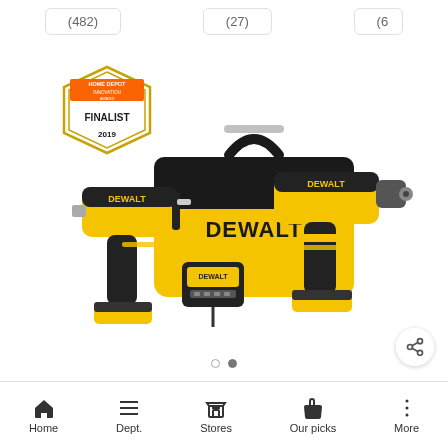(482)
(27)
(6
[Figure (photo): DEWALT 20V MAX power tool combo kit showing an impact driver, drill/driver, battery charger, two compact batteries, and a yellow/black tool bag. Innovation Award Finalist 2019 badge visible.]
Home  Dept.  Stores  Our picks  More